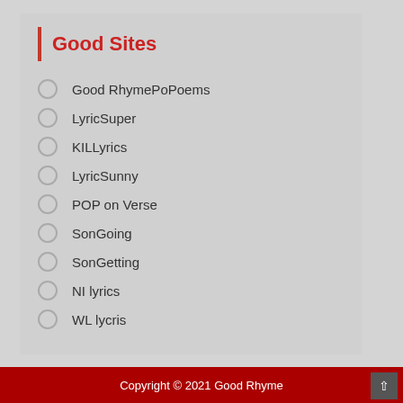Good Sites
Good RhymePoPoems
LyricSuper
KILLyrics
LyricSunny
POP on Verse
SonGoing
SonGetting
NI lyrics
WL lycris
Copyright © 2021 Good Rhyme